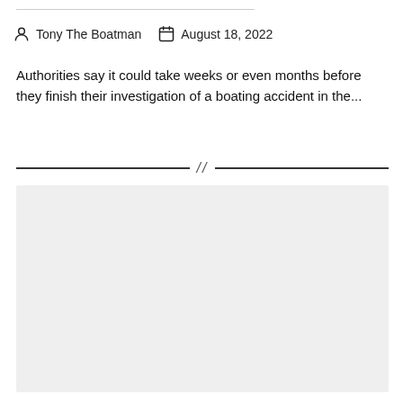Tony The Boatman  August 18, 2022
Authorities say it could take weeks or even months before they finish their investigation of a boating accident in the...
[Figure (other): Gray placeholder block below a section divider with double-slash separator]